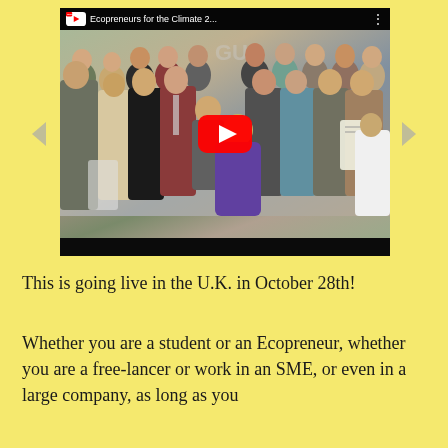[Figure (screenshot): YouTube video thumbnail showing a group photo of people at an Ecopreneurs for the Climate event. The video player shows a title bar reading 'Ecopreneurs for the Climate 2...' with a YouTube logo, a red play button overlay in the center of the group photo, and a black bottom bar. Navigation arrows appear on left and right sides.]
This is going live in the U.K. in October 28th!
Whether you are a student or an Ecopreneur, whether you are a free-lancer or work in an SME, or even in a large company, as long as you